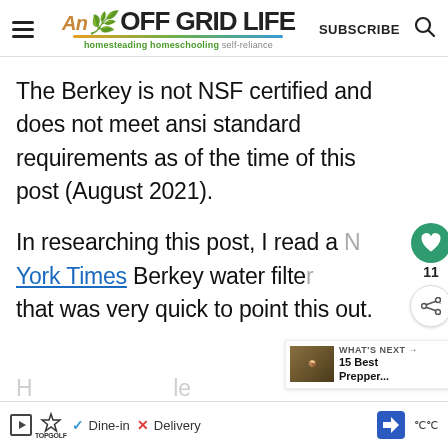An OFF GRID LIFE — homesteading homeschooling self-reliance | SUBSCRIBE
The Berkey is not NSF certified and does not meet ansi standard requirements as of the time of this post (August 2021).
In researching this post, I read a New York Times Berkey water filter review that was very quick to point this out.